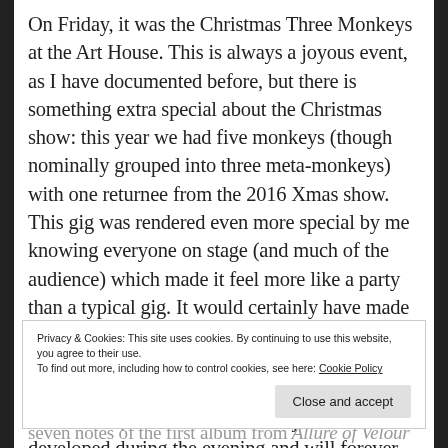On Friday, it was the Christmas Three Monkeys at the Art House.  This is always a joyous event, as I have documented before, but there is something extra special about the Christmas show: this year we had five monkeys (though nominally grouped into three meta-monkeys) with one returnee from the 2016 Xmas show.  This gig was rendered even more special by me knowing everyone on stage (and much of the audience) which made it feel more like a party than a typical gig.  It would certainly have made it on to my list of the top gigs of 2017 had it occurred just a few days earlier (or I had kept my powder dry a little longer).  As can happen at such events, a whole series of in-jokes developed during the evening and will forever bond
Privacy & Cookies: This site uses cookies. By continuing to use this website, you agree to their use.
To find out more, including how to control cookies, see here: Cookie Policy
seven notes of the first album from Allure of Velour